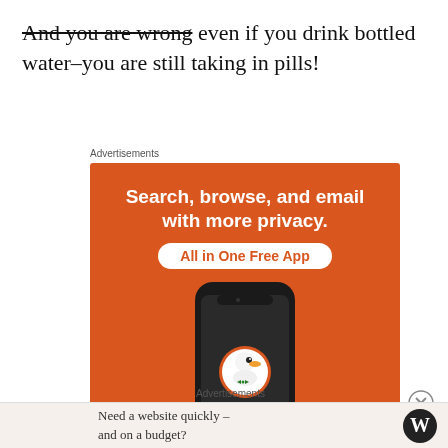And you are wrong even if you drink bottled water–you are still taking in pills!
Advertisements
[Figure (illustration): DuckDuckGo advertisement showing phone with DuckDuckGo logo and text: Search, browse, and email with more privacy. All in One Free App.]
[Figure (other): Close/dismiss button (X circle)]
Advertisements
Need a website quickly – and on a budget?